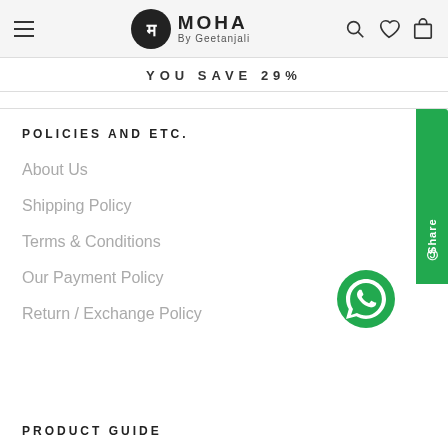MOHA By Geetanjali
YOU SAVE 29%
POLICIES AND ETC.
About Us
Shipping Policy
Terms & Conditions
Our Payment Policy
Return / Exchange Policy
PRODUCT GUIDE